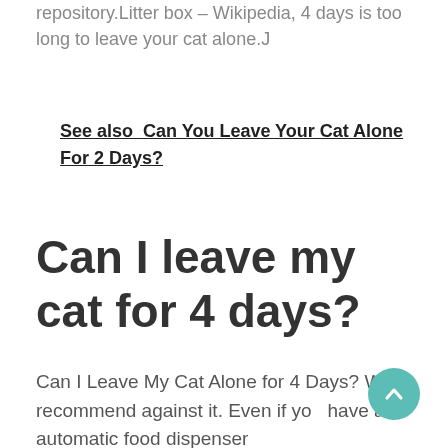repository.Litter box – Wikipedia, 4 days is too long to leave your cat alone.J
See also  Can You Leave Your Cat Alone For 2 Days?
Can I leave my cat for 4 days?
Can I Leave My Cat Alone for 4 Days? We'd recommend against it. Even if you have an automatic food dispenser